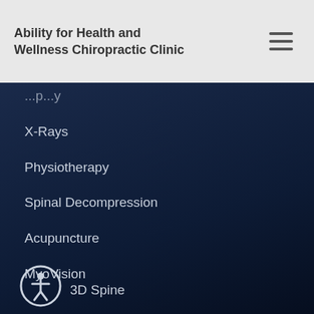Ability for Health and Wellness Chiropractic Clinic
X-Rays
Physiotherapy
Spinal Decompression
Acupuncture
MyoVision
Quick Links
3D Spine